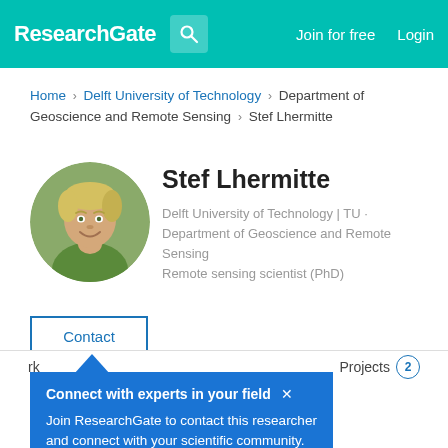ResearchGate  Join for free  Login
Home > Delft University of Technology > Department of Geoscience and Remote Sensing > Stef Lhermitte
Stef Lhermitte
Delft University of Technology | TU · Department of Geoscience and Remote Sensing
Remote sensing scientist (PhD)
Contact
Connect with experts in your field ×
Join ResearchGate to contact this researcher and connect with your scientific community.
Projects 2